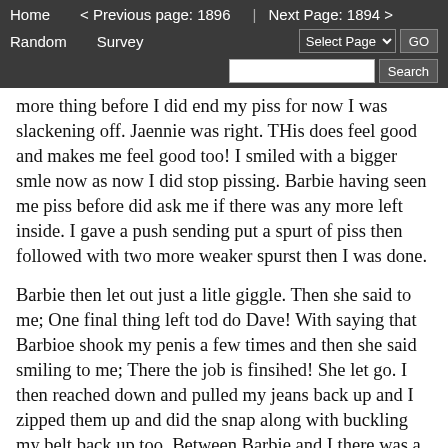Home   < Previous page: 1896  |  Next Page: 1894 >   Random   Survey   Select Page ▾  GO   Search
more thing before I did end my piss for now I was slackening off. Jaennie was right. THis does feel good and makes me feel good too! I smiled with a bigger smle now as now I did stop pissing. Barbie having seen me piss before did ask me if there was any more left inside. I gave a push sending put a spurt of piss then followed with two more weaker spurst then I was done.
Barbie then let out just a litle giggle. Then she said to me; One final thing left tod do Dave! With saying that Barbioe shook my penis a few times and then she said smiling to me; There the job is finsihed! She let go. I then reached down and pulled my jeans back up and I zipped them up and did the snap along with buckling my belt back up too. Between Barbie and I there was a lot of piss coverng the floor along with a lot of wet dirt on the floor too.
We then exited it out the door which I turned around and forced it closed shut. We started walking back towards